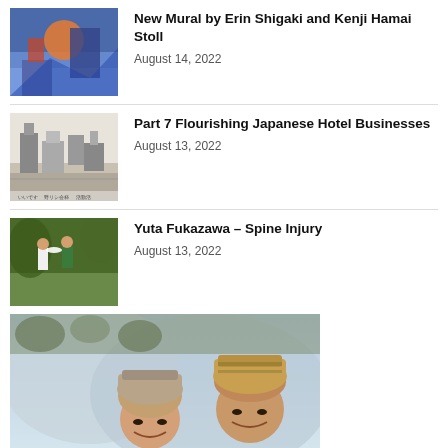[Figure (photo): Colorful mural artwork on a building exterior]
New Mural by Erin Shigaki and Kenji Hamai Stoll
August 14, 2022
[Figure (photo): Black and white historic photo of Japanese hotel buildings]
Part 7 Flourishing Japanese Hotel Businesses
August 13, 2022
[Figure (photo): Two children playing outdoors with a frisbee]
Yuta Fukazawa – Spine Injury
August 13, 2022
[Figure (photo): Two children wearing knit winter hats smiling outdoors with snowy or icy background]